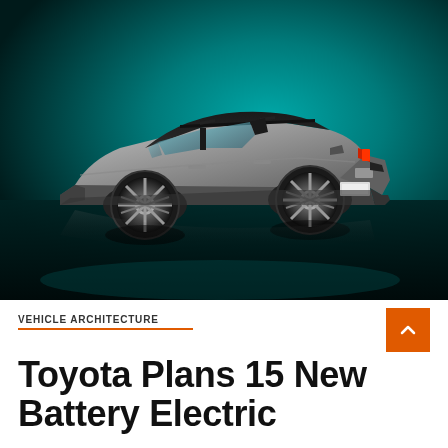[Figure (photo): Side-rear three-quarter view of a silver/grey Toyota bZ4X electric SUV concept car on a teal/turquoise studio background with dark floor reflection]
VEHICLE ARCHITECTURE
Toyota Plans 15 New Battery Electric...